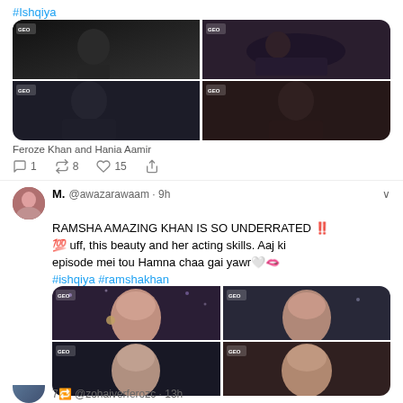#Ishqiya
[Figure (photo): 2x2 grid of drama screenshots showing Feroze Khan and Hania Aamir]
Feroze Khan and Hania Aamir
1   8   15
M. @awazarawaam · 9h
RAMSHA AMAZING KHAN IS SO UNDERRATED ‼️ 💯 uff, this beauty and her acting skills. Aaj ki episode mei tou Hamna chaa gai yawr🤍🫦 #ishqiya #ramshakhan @ramshakofficial 🌸 🎀
[Figure (photo): 2x2 grid of screenshots showing Ramsha Khan from drama Ishqiya]
7🔁 @zohaiverferozc · 13h